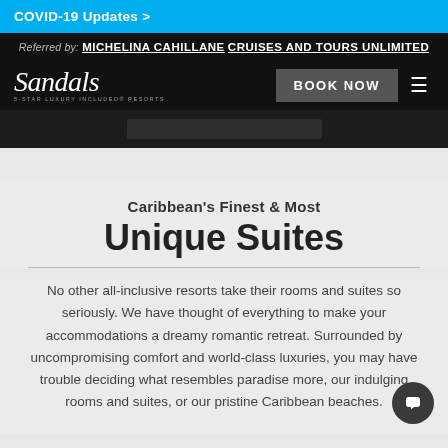COVID-19 Updates >
Referred by: MICHELINA CAHILLANE CRUISES AND TOURS UNLIMITED
[Figure (logo): Sandals 5-Star Luxury Included Resorts logo in white italic script on black background]
BOOK NOW
Caribbean's Finest & Most Unique Suites
No other all-inclusive resorts take their rooms and suites so seriously. We have thought of everything to make your accommodations a dreamy romantic retreat. Surrounded by uncompromising comfort and world-class luxuries, you may have trouble deciding what resembles paradise more, our indulging rooms and suites, or our pristine Caribbean beaches.